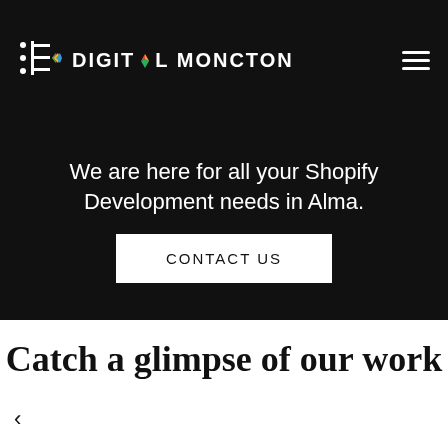[Figure (logo): Digital Moncton logo with white icon and text on black background, with hamburger menu on right]
We are here for all your Shopify Development needs in Alma.
Contact Us
Catch a glimpse of our work
[Figure (logo): Bottom carousel strip showing 'way' logo in red italic, 'bangin' logo in orange with star, and green chat bubble icon, with left arrow navigation]